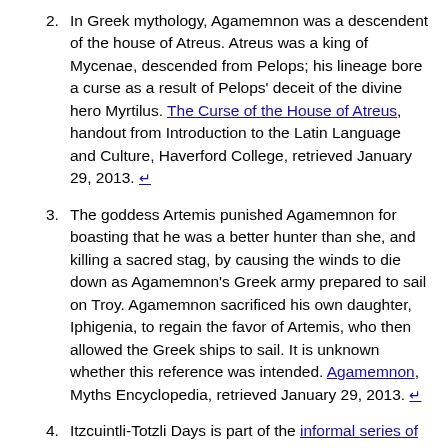2. In Greek mythology, Agamemnon was a descendent of the house of Atreus. Atreus was a king of Mycenae, descended from Pelops; his lineage bore a curse as a result of Pelops' deceit of the divine hero Myrtilus. The Curse of the House of Atreus, handout from Introduction to the Latin Language and Culture, Haverford College, retrieved January 29, 2013. ↵
3. The goddess Artemis punished Agamemnon for boasting that he was a better hunter than she, and killing a sacred stag, by causing the winds to die down as Agamemnon's Greek army prepared to sail on Troy. Agamemnon sacrificed his own daughter, Iphigenia, to regain the favor of Artemis, who then allowed the Greek ships to sail. It is unknown whether this reference was intended. Agamemnon, Myths Encyclopedia, retrieved January 29, 2013. ↵
4. Itzcuintli-Totzli Days is part of the informal series of Aztec songs. ↵
5. The Tonalpohualli, the sacred Aztec calendar, divides the days among the Aztec gods, keeping the divine forces competing for power in equilibrium. Day Itzcuintli (Dog) is governed by Mictlantecuhtli, God of Death - Itzcuintli is the guide for the dead, the spirit world's link with the living, and these days are